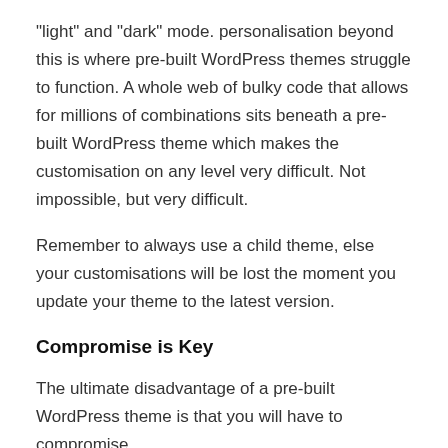“light” and “dark” mode. personalisation beyond this is where pre-built WordPress themes struggle to function. A whole web of bulky code that allows for millions of combinations sits beneath a pre-built WordPress theme which makes the customisation on any level very difficult. Not impossible, but very difficult.
Remember to always use a child theme, else your customisations will be lost the moment you update your theme to the latest version.
Compromise is Key
The ultimate disadvantage of a pre-built WordPress theme is that you will have to compromise.
Often, it’s very difficult to re-create or have a pre-built WordPress theme altered to fit with your brand